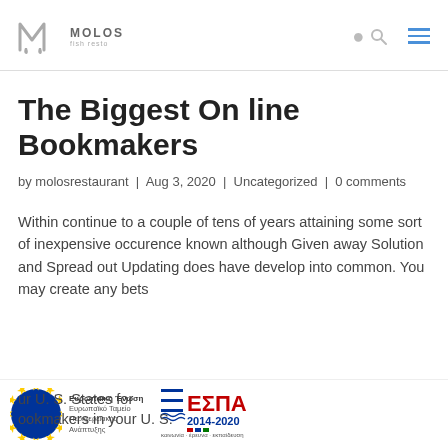MOLOS | fish resto
The Biggest On line Bookmakers
by molosrestaurant | Aug 3, 2020 | Uncategorized | 0 comments
Within continue to a couple of tens of years attaining some sort of inexpensive occurence known although Given away Solution and Spread out Updating does have develop into common. You may create any bets ur U. S. States for ookmakers in your U. S.
[Figure (logo): EU flag with Ευρωπαϊκή Ένωση / Ευρωπαϊκό Ταμείο Περιφερειακής Ανάπτυξης text]
[Figure (logo): ΕΣΠΑ 2014-2020 logo with Greek text]